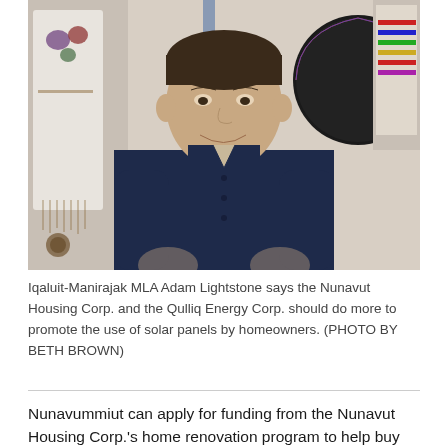[Figure (photo): Portrait photo of a man in a dark navy blue long-sleeve shirt, smiling, standing indoors in front of decorative Indigenous-style garments and artwork including what appears to be a drum and embroidered clothing on the wall behind him.]
Iqaluit-Manirajak MLA Adam Lightstone says the Nunavut Housing Corp. and the Qulliq Energy Corp. should do more to promote the use of solar panels by homeowners. (PHOTO BY BETH BROWN)
Nunavummiut can apply for funding from the Nunavut Housing Corp.'s home renovation program to help buy